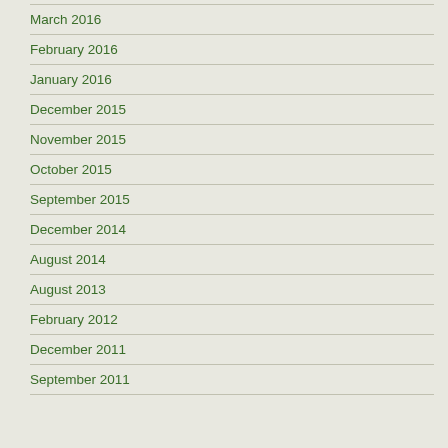March 2016
February 2016
January 2016
December 2015
November 2015
October 2015
September 2015
December 2014
August 2014
August 2013
February 2012
December 2011
September 2011